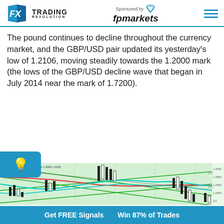FX Trading Revolution | Sponsored by fpmarkets
The pound continues to decline throughout the currency market, and the GBP/USD pair updated its yesterday's low of 1.2106, moving steadily towards the 1.2000 mark (the lows of the GBP/USD decline wave that began in July 2014 near the mark of 1.7200).
[Figure (continuous-plot): GBP/USD weekly candlestick chart showing a long-term decline from ~1.7200 (July 2014) with moving average lines (red and cyan), diagonal green channel lines indicating downward trend, price around 1.2000-1.2100 area.]
Get FREE Signals   Win 87% of Trades